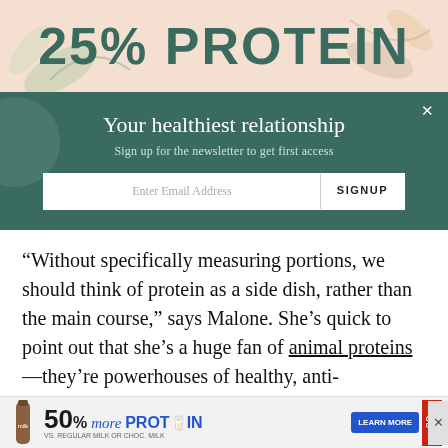[Figure (other): Top banner with text '25% PROTEIN' on a peach/beige background with decorative leaf illustrations]
Your healthiest relationship
Sign up for the newsletter to get first access
[Figure (other): Email signup form with 'Enter Email Address' input and 'SIGNUP' button on teal background]
“Without specifically measuring portions, we should think of protein as a side dish, rather than the main course,” says Malone. She’s quick to point out that she’s a huge fan of animal proteins—they’re powerhouses of healthy, anti-inflammatory fats and healing amino acids—as long as they’re unprocessed
[Figure (other): Bottom advertisement banner: '50% more PROTEIN TO GO, LEARN MORE, VS. REGULAR MILK OR CHOC. MILK']